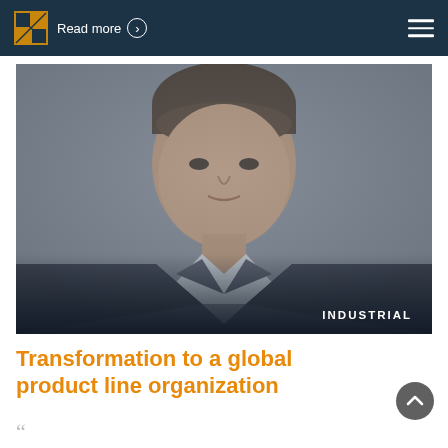Read more
[Figure (photo): Professional headshot of a middle-aged man in a dark suit with a grey background, with 'INDUSTRIAL' label overlay at bottom right]
Transformation to a global product line organization